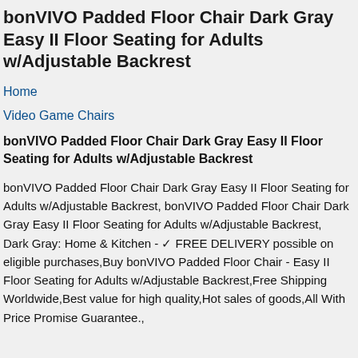bonVIVO Padded Floor Chair Dark Gray Easy II Floor Seating for Adults w/Adjustable Backrest
Home
Video Game Chairs
bonVIVO Padded Floor Chair Dark Gray Easy II Floor Seating for Adults w/Adjustable Backrest
bonVIVO Padded Floor Chair Dark Gray Easy II Floor Seating for Adults w/Adjustable Backrest, bonVIVO Padded Floor Chair Dark Gray Easy II Floor Seating for Adults w/Adjustable Backrest, Dark Gray: Home & Kitchen - ✓ FREE DELIVERY possible on eligible purchases,Buy bonVIVO Padded Floor Chair - Easy II Floor Seating for Adults w/Adjustable Backrest,Free Shipping Worldwide,Best value for high quality,Hot sales of goods,All With Price Promise Guarantee.,